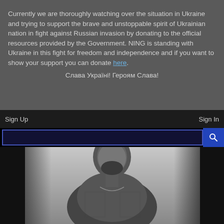Currently we are thoroughly watching over the situation in Ukraine and trying to support the brave and unstoppable spirit of Ukrainian nation in fight against Russian invasion by donating to the official resources provided by the Government. NING is standing with Ukraine in this fight for freedom and independence and if you want to show your support you can donate here.
Слава Україні! Героям Слава!
Sign Up
Sign In
[Figure (photo): Black and white portrait photo of a heavily tattooed shirtless man with a beard, wearing a chain necklace, photographed from chest up against a light grey background.]